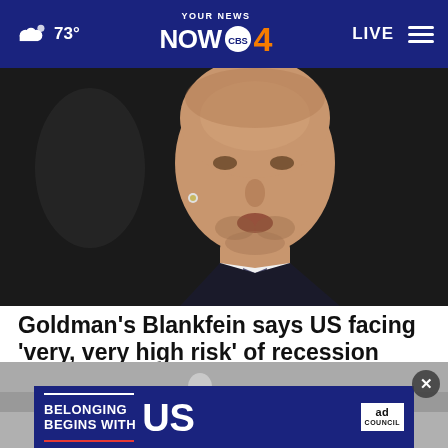73° YOUR NEWS NOW CBS 4 LIVE
[Figure (photo): Close-up photo of Goldman Sachs CEO Lloyd Blankfein speaking with a earpiece microphone, wearing a dark suit and tie, against a dark background.]
Goldman's Blankfein says US facing 'very, very high risk' of recession
[Figure (photo): Ad overlay showing street scene in background with 'Belonging Begins With US' Ad Council banner advertisement at bottom, with a close (x) button in upper right.]